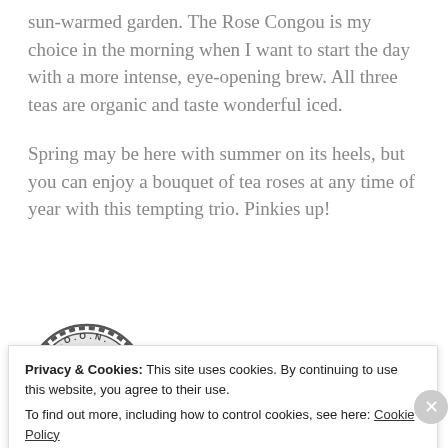sun-warmed garden. The Rose Congou is my choice in the morning when I want to start the day with a more intense, eye-opening brew. All three teas are organic and taste wonderful iced.
Spring may be here with summer on its heels, but you can enjoy a bouquet of tea roses at any time of year with this tempting trio. Pinkies up!
[Figure (logo): S.W.O.O.N. circular stamp logo with decorative letter S in the center]
Stuff Worthy Of Our Notice™ in this post:
Privacy & Cookies: This site uses cookies. By continuing to use this website, you agree to their use.
To find out more, including how to control cookies, see here: Cookie Policy